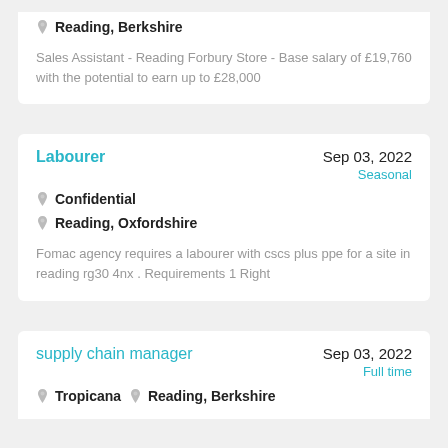Reading, Berkshire
Sales Assistant - Reading Forbury Store - Base salary of £19,760 with the potential to earn up to £28,000
Labourer
Sep 03, 2022
Confidential
Seasonal
Reading, Oxfordshire
Fomac agency requires a labourer with cscs plus ppe for a site in reading rg30 4nx . Requirements 1 Right
supply chain manager
Sep 03, 2022
Tropicana
Reading, Berkshire
Full time